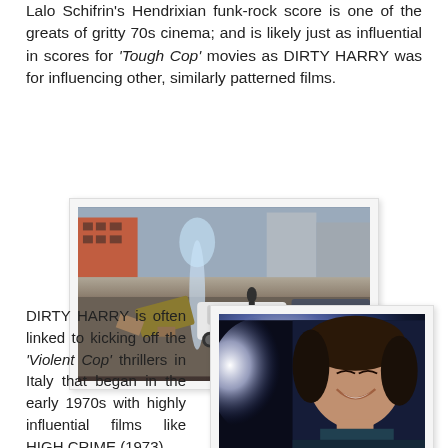Lalo Schifrin's Hendrixian funk-rock score is one of the greats of gritty 70s cinema; and is likely just as influential in scores for 'Tough Cop' movies as DIRTY HARRY was for influencing other, similarly patterned films.
[Figure (photo): A 1970s urban street scene showing cars, debris, and a water geyser on a busy city street, in a gritty cinematic style.]
DIRTY HARRY is often linked to kicking off the 'Violent Cop' thrillers in Italy that began in the early 1970s with highly influential films like HIGH CRIME (1973)
[Figure (photo): A close-up still from a film showing a smiling young man's face illuminated by a bright light source, against a dark blue background.]